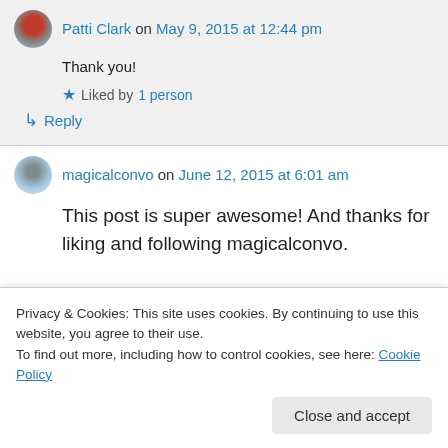Patti Clark on May 9, 2015 at 12:44 pm
Thank you!
Liked by 1 person
Reply
magicalconvo on June 12, 2015 at 6:01 am
This post is super awesome! And thanks for liking and following magicalconvo.
Privacy & Cookies: This site uses cookies. By continuing to use this website, you agree to their use.
To find out more, including how to control cookies, see here: Cookie Policy
Close and accept
Patti Clark on June 25, 2015 at 1:40 pm